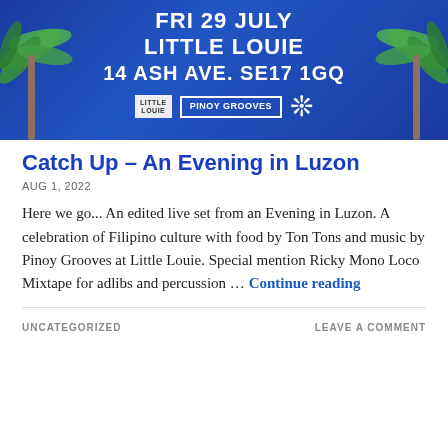[Figure (illustration): Event banner with blue background and palm trees. Text reads: FRI 29 JULY / LITTLE LOUIE / 14 ASH AVE. SE17 1GQ. Logos for Little Louie and Pinoy Grooves at bottom.]
Catch Up – An Evening in Luzon
AUG 1, 2022
Here we go... An edited live set from an Evening in Luzon. A celebration of Filipino culture with food by Ton Tons and music by Pinoy Grooves at Little Louie. Special mention Ricky Mono Loco Mixtape for adlibs and percussion … Continue reading
UNCATEGORIZED
LEAVE A COMMENT